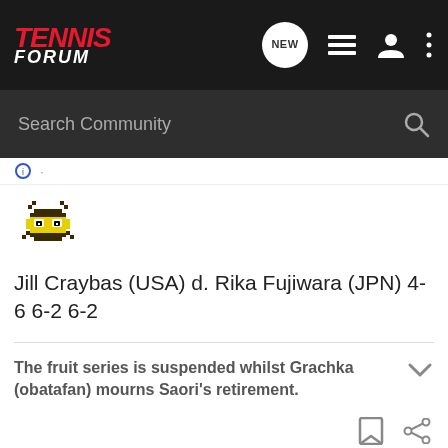TENNIS FORUM
Search Community
[Figure (illustration): Small pixel-art crab/alien avatar icon in yellow and black]
Jill Craybas (USA) d. Rika Fujiwara (JPN) 4-6 6-2 6-2
The fruit series is suspended whilst Grachka (obatafan) mourns Saori’s retirement.